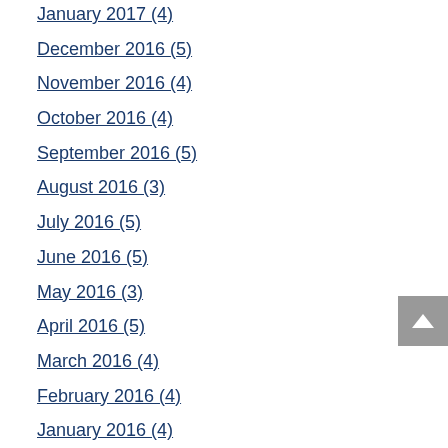January 2017 (4)
December 2016 (5)
November 2016 (4)
October 2016 (4)
September 2016 (5)
August 2016 (3)
July 2016 (5)
June 2016 (5)
May 2016 (3)
April 2016 (5)
March 2016 (4)
February 2016 (4)
January 2016 (4)
December 2015 (5)